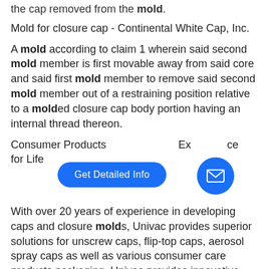the cap removed from the mold.
Mold for closure cap - Continental White Cap, Inc.
A mold according to claim 1 wherein said second mold member is first movable away from said core and said first mold member to remove said second mold member out of a restraining position relative to a molded closure cap body portion having an internal thread thereon.
Consumer Products... Excellence for Life
With over 20 years of experience in developing caps and closure molds, Univac provides superior solutions for unscrew caps, flip-top caps, aerosol spray caps as well as various consumer care products packaging. Univac provides innovative tooling solutions that meet the unique demands of today's packaging industry.